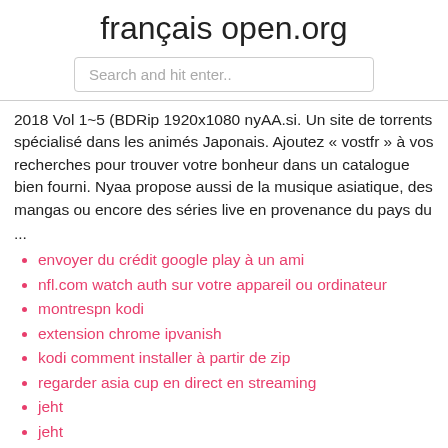français open.org
Search and hit enter..
2018 Vol 1~5 (BDRip 1920x1080 nyAA.si. Un site de torrents spécialisé dans les animés Japonais. Ajoutez « vostfr » à vos recherches pour trouver votre bonheur dans un catalogue bien fourni. Nyaa propose aussi de la musique asiatique, des mangas ou encore des séries live en provenance du pays du
...
envoyer du crédit google play à un ami
nfl.com watch auth sur votre appareil ou ordinateur
montrespn kodi
extension chrome ipvanish
kodi comment installer à partir de zip
regarder asia cup en direct en streaming
jeht
jeht
jeht
jeht
jeht